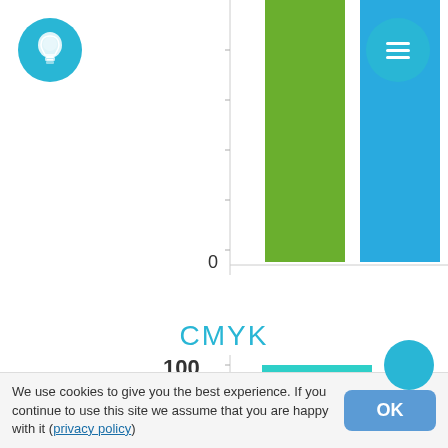[Figure (bar-chart): Partial bar chart visible at top of page showing two bars: green bar and blue bar, both extending above top of visible area. Y-axis label shows 0 at bottom.]
CMYK
[Figure (bar-chart): Bar chart with teal/turquoise bar for C (Cyan) channel reaching approximately 100. Y-axis shows 100 at top and 50 midpoint. Bar extends from bottom near 0 to 100.]
We use cookies to give you the best experience. If you continue to use this site we assume that you are happy with it (privacy policy)